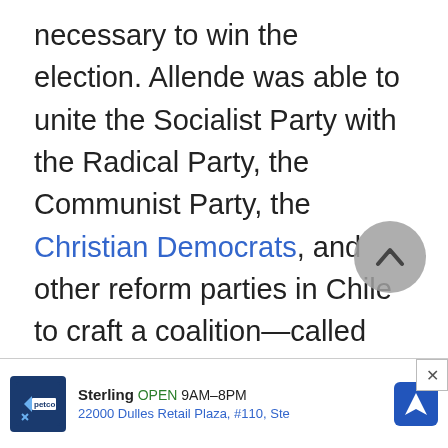necessary to win the election. Allende was able to unite the Socialist Party with the Radical Party, the Communist Party, the Christian Democrats, and other reform parties in Chile to craft a coalition—called the Popular Unity Coalition—that was able to garner enough support to win the election.
Allende won plurality (36 percent), but since he did not receive a majority of votes, he had to participate in a runoff in a...
[Figure (other): Scroll-to-top circular button overlay with upward chevron arrow]
[Figure (other): Petco advertisement bar: Sterling OPEN 9AM-8PM, 22000 Dulles Retail Plaza, #110, Ste with navigation icon]